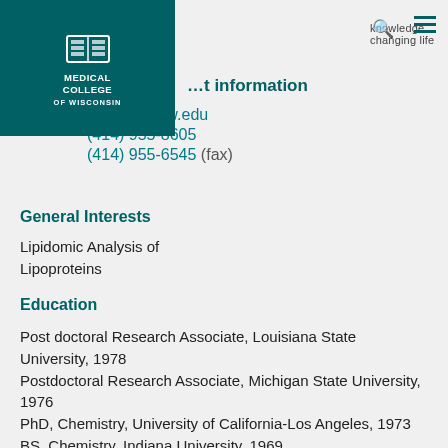Medical College of Wisconsin — knowledge changing life
Contact Information
...nas@mcw.edu
(414) 955-8605
(414) 955-6545 (fax)
General Interests
Lipidomic Analysis of Lipoproteins
Education
Post doctoral Research Associate, Louisiana State University, 1978
Postdoctoral Research Associate, Michigan State University, 1976
PhD, Chemistry, University of California-Los Angeles, 1973
BS, Chemistry, Indiana University, 1969